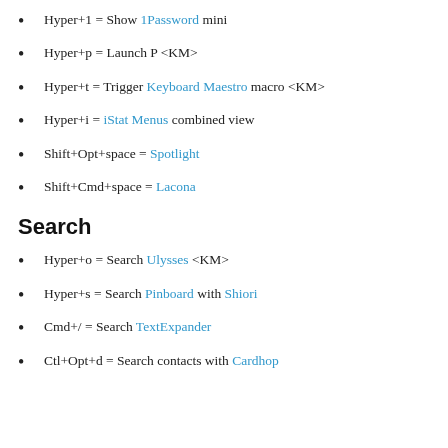Hyper+1 = Show 1Password mini
Hyper+p = Launch P <KM>
Hyper+t = Trigger Keyboard Maestro macro <KM>
Hyper+i = iStat Menus combined view
Shift+Opt+space = Spotlight
Shift+Cmd+space = Lacona
Search
Hyper+o = Search Ulysses <KM>
Hyper+s = Search Pinboard with Shiori
Cmd+/ = Search TextExpander
Ctl+Opt+d = Search contacts with Cardhop